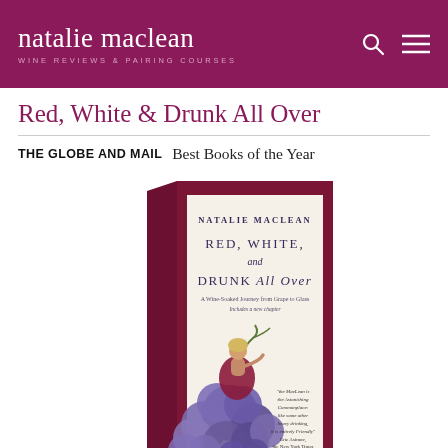natalie maclean — WINE REVIEWS & PAIRING COURSES
Red, White & Drunk All Over
THE GLOBE AND MAIL  Best Books of the Year
[Figure (photo): Book cover of 'Red, White, and Drunk All Over' by Natalie MacLean, showing a woman sitting atop a large bunch of purple grapes, illustrated style, with dark red border]